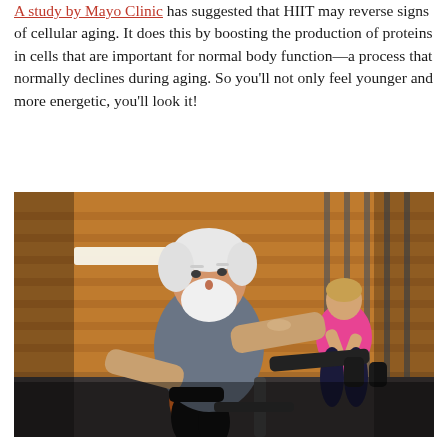A study by Mayo Clinic has suggested that HIIT may reverse signs of cellular aging. It does this by boosting the production of proteins in cells that are important for normal body function—a process that normally declines during aging. So you'll not only feel younger and more energetic, you'll look it!
[Figure (photo): An older man with white hair and beard wearing a gray t-shirt and orange shorts rides a stationary exercise bike in a gym. In the background, a woman in a pink top is also cycling. The gym has an orange brick wall and metal railings.]